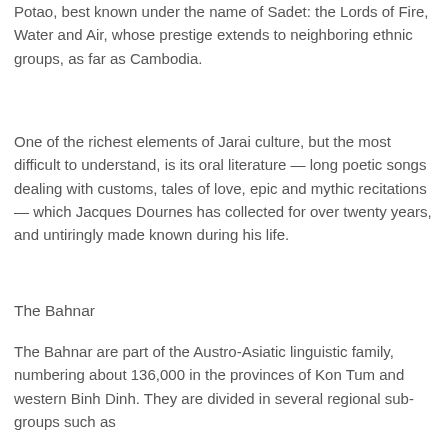Potao, best known under the name of Sadet: the Lords of Fire, Water and Air, whose prestige extends to neighboring ethnic groups, as far as Cambodia.
One of the richest elements of Jarai culture, but the most difficult to understand, is its oral literature — long poetic songs dealing with customs, tales of love, epic and mythic recitations — which Jacques Dournes has collected for over twenty years, and untiringly made known during his life.
The Bahnar
The Bahnar are part of the Austro-Asiatic linguistic family, numbering about 136,000 in the provinces of Kon Tum and western Binh Dinh. They are divided in several regional sub-groups such as